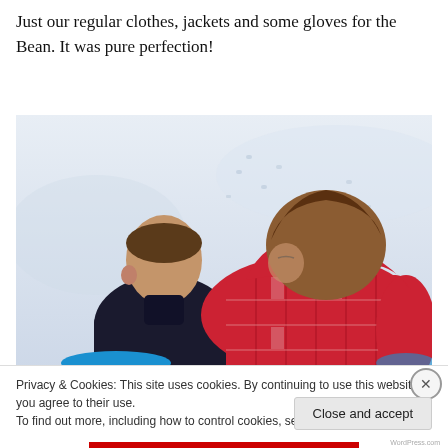Just our regular clothes, jackets and some gloves for the Bean. It was pure perfection!
[Figure (photo): Two children seen from behind sitting in snow, one wearing a dark fleece jacket and one wearing a red plaid hoodie, appearing to be sledding together.]
Privacy & Cookies: This site uses cookies. By continuing to use this website, you agree to their use.
To find out more, including how to control cookies, see here: Cookie Policy
Close and accept